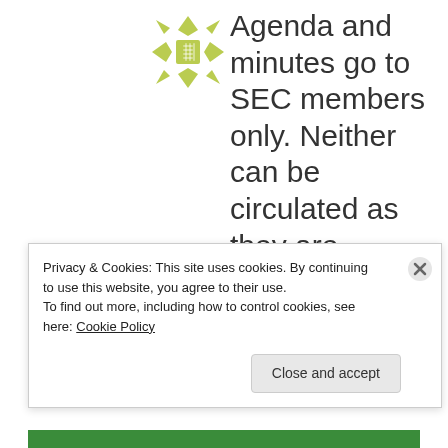[Figure (logo): Green geometric/floral pattern logo mark]
Agenda and minutes go to SEC members only. Neither can be circulated as they are confidential. You will have
Privacy & Cookies: This site uses cookies. By continuing to use this website, you agree to their use.
To find out more, including how to control cookies, see here: Cookie Policy
Close and accept